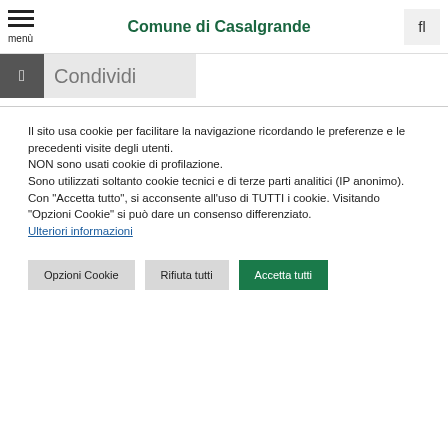Comune di Casalgrande
Condividi
Il sito usa cookie per facilitare la navigazione ricordando le preferenze e le precedenti visite degli utenti.
NON sono usati cookie di profilazione.
Sono utilizzati soltanto cookie tecnici e di terze parti analitici (IP anonimo).
Con "Accetta tutto", si acconsente all'uso di TUTTI i cookie.
Visitando "Opzioni Cookie" si può dare un consenso differenziato.
Ulteriori informazioni
Opzioni Cookie | Rifiuta tutti | Accetta tutti